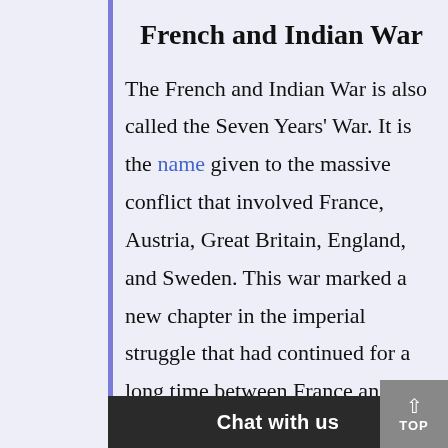French and Indian War
The French and Indian War is also called the Seven Years' War. It is the name given to the massive conflict that involved France, Austria, Great Britain, England, and Sweden. This war marked a new chapter in the imperial struggle that had continued for a long time between France and Britain. Basically, this war was waged by England and her American colonies…ome